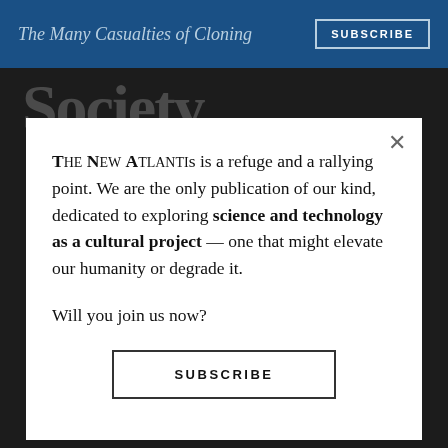The Many Casualties of Cloning
THE NEW ATLANTIS is a refuge and a rallying point. We are the only publication of our kind, dedicated to exploring science and technology as a cultural project — one that might elevate our humanity or degrade it.
Will you join us now?
SUBSCRIBE